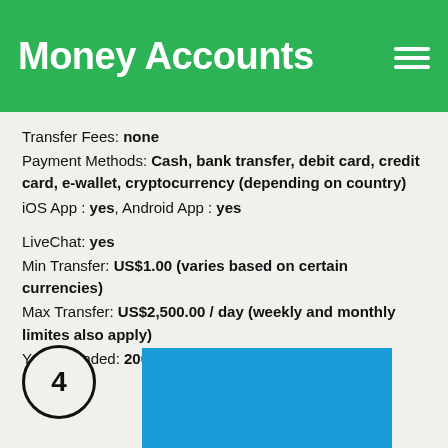Money Accounts
Transfer Fees: none
Payment Methods: Cash, bank transfer, debit card, credit card, e-wallet, cryptocurrency (depending on country)
iOS App : yes, Android App : yes
LiveChat: yes
Min Transfer: US$1.00 (varies based on certain currencies)
Max Transfer: US$2,500.00 / day (weekly and monthly limites also apply)
Year Founded: 2001
[Figure (other): Circle badge with number 4 and a blue rectangular block partially visible at bottom of page]